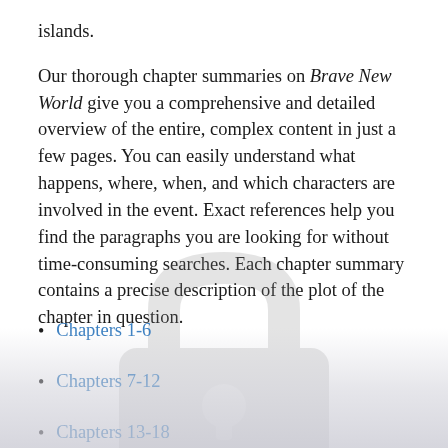islands.
Our thorough chapter summaries on Brave New World give you a comprehensive and detailed overview of the entire, complex content in just a few pages. You can easily understand what happens, where, when, and which characters are involved in the event. Exact references help you find the paragraphs you are looking for without time-consuming searches. Each chapter summary contains a precise description of the plot of the chapter in question.
Chapters 1-6
Chapters 7-12
Chapters 13-18